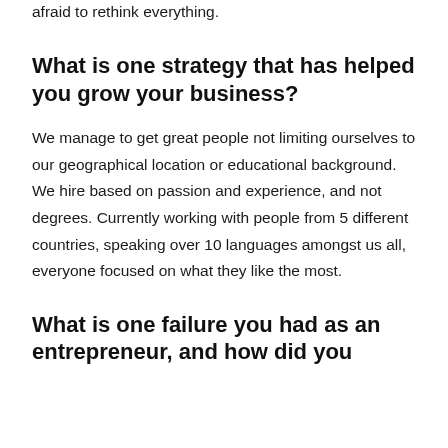Check everything over and over again and don't be afraid to rethink everything.
What is one strategy that has helped you grow your business?
We manage to get great people not limiting ourselves to our geographical location or educational background. We hire based on passion and experience, and not degrees. Currently working with people from 5 different countries, speaking over 10 languages amongst us all, everyone focused on what they like the most.
What is one failure you had as an entrepreneur, and how did you